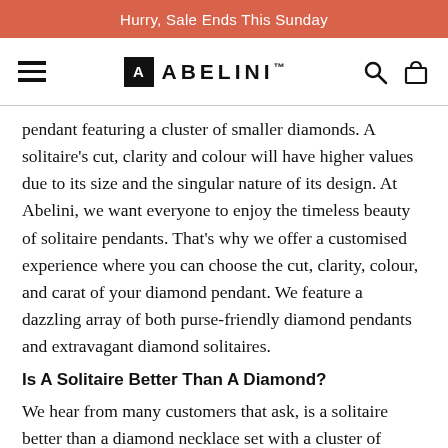Hurry, Sale Ends This Sunday
[Figure (logo): Abelini logo with hamburger menu, A logo box, ABELINI™ brand name, search and bag icons]
pendant featuring a cluster of smaller diamonds. A solitaire's cut, clarity and colour will have higher values due to its size and the singular nature of its design. At Abelini, we want everyone to enjoy the timeless beauty of solitaire pendants. That's why we offer a customised experience where you can choose the cut, clarity, colour, and carat of your diamond pendant. We feature a dazzling array of both purse-friendly diamond pendants and extravagant diamond solitaires.
Is A Solitaire Better Than A Diamond?
We hear from many customers that ask, is a solitaire better than a diamond necklace set with a cluster of smaller gems? And the answer is really down to preference. It may be that you prefer a diamond solitaire to act as a show-stopper in your jewellery that highlights your kindly to...